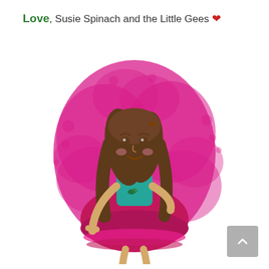Love, Susie Spinach and the Little Gees ♥
[Figure (illustration): Cartoon illustration of a young girl (Susie Spinach) with long brown wavy hair, wearing a pink and teal dress, standing confidently with hand on hip against a splattered hot-pink/magenta paint background.]